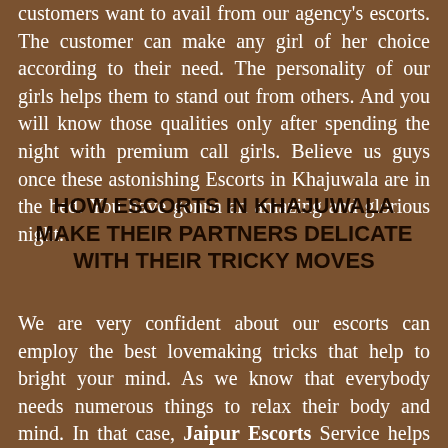customers want to avail from our agency's escorts. The customer can make any girl of her choice according to their need. The personality of our girls helps them to stand out from others. And you will know those qualities only after spending the night with premium call girls. Believe us guys once these astonishing Escorts in Khajuwala are in the bed. You have gonna an amazing and glorious night.
HOW ESCORTS IN KHAJUWALA MAKE THEIR PARTNERS DELICATE WITH THEIR TRICKY MOVES
We are very confident about our escorts can employ the best lovemaking tricks that help to bright your mind. As we know that everybody needs numerous things to relax their body and mind. In that case, Jaipur Escorts Service helps those people to find out a perfect call girl for superb enjoyment. When escorts are with their partners they always try to find some innovative ways. Which helps them to make that particular night memorable. Now the choice is yours that employ a call girl and tell her what you want from them. After that rest of the work will be done by these paramour escorts